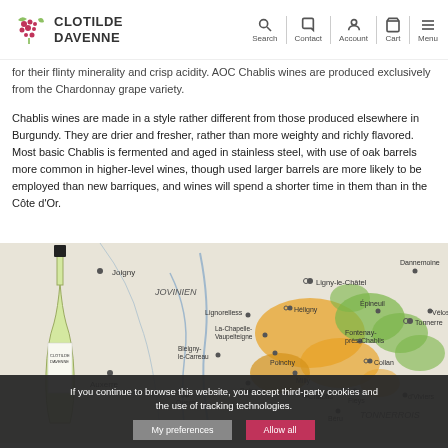Clotilde Davenne — Search Contact Account Cart Menu
for their flinty minerality and crisp acidity. AOC Chablis wines are produced exclusively from the Chardonnay grape variety.
Chablis wines are made in a style rather different from those produced elsewhere in Burgundy. They are drier and fresher, rather than more weighty and richly flavored. Most basic Chablis is fermented and aged in stainless steel, with use of oak barrels more common in higher-level wines, though used larger barrels are more likely to be employed than new barriques, and wines will spend a shorter time in them than in the Côte d'Or.
[Figure (map): Map of Chablis wine region showing Jovinien, Joigny, Ligny-le-Châtel, Dannemoine, Epineuil, Tonnerre, Lignorelless, Viviers, Heligny, Fontenay-près-Chablis, La-Chapelle-Vaupelteigne, Collan, Bleigny-le-Carreau, Poinchy, Milly, Auxerre, Chablis, Fleys, Beru and surrounding areas with colored wine classification zones. A wine bottle is partially visible on the left.]
If you continue to browse this website, you accept third-party cookies and the use of tracking technologies.